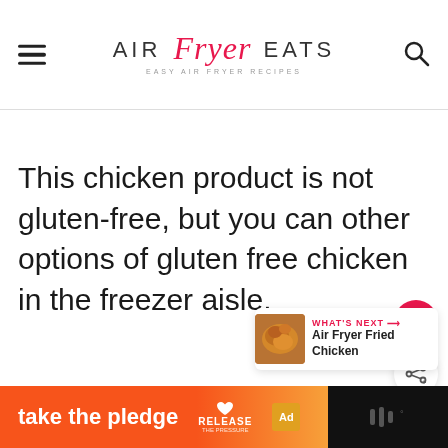AIR Fryer EATS — EASY AIR FRYER RECIPES
This chicken product is not gluten-free, but you can other options of gluten free chicken in the freezer aisle.
[Figure (other): Red circular heart/save button and white circular share button on right side]
[Figure (other): What's Next card with thumbnail image of fried chicken and text: WHAT'S NEXT → Air Fryer Fried Chicken]
[Figure (other): Advertisement banner at bottom: orange gradient with 'take the pledge' text, RELEASE branding, ad badge, and dark right section with audio icon]